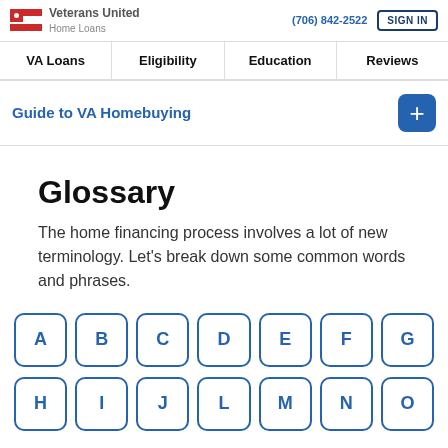Veterans United Home Loans | (706) 842-2522 | SIGN IN
VA Loans | Eligibility | Education | Reviews
Guide to VA Homebuying
Glossary
The home financing process involves a lot of new terminology. Let's break down some common words and phrases.
A B C D E F G H I J L M N O